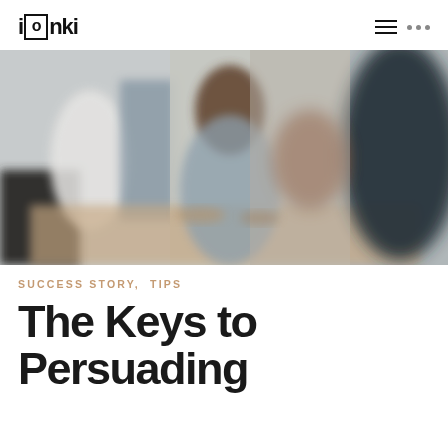ionki
[Figure (photo): Blurred photo of a group of people gathered around a table in an office or cafe setting, appearing to be in discussion or collaboration. A woman with long dark hair in the center appears to be speaking.]
SUCCESS STORY, TIPS
The Keys to Persuading